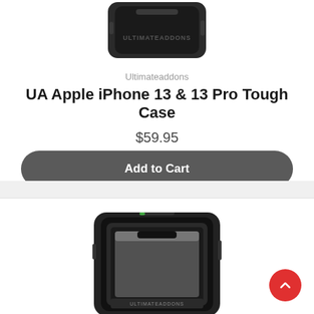[Figure (photo): Top portion of a black iPhone tough case (bottom view), with ULTIMATEADDONS branding visible]
Ultimateaddons
UA Apple iPhone 13 & 13 Pro Tough Case
$59.95
Add to Cart
[Figure (photo): Second product card showing another black tough case for iPhone, partially visible, showing the front face of the case]